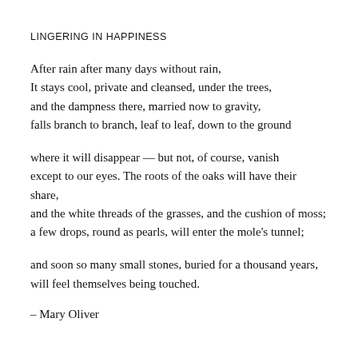LINGERING IN HAPPINESS
After rain after many days without rain,
It stays cool, private and cleansed, under the trees,
and the dampness there, married now to gravity,
falls branch to branch, leaf to leaf, down to the ground
where it will disappear — but not, of course, vanish
except to our eyes. The roots of the oaks will have their share,
and the white threads of the grasses, and the cushion of moss;
a few drops, round as pearls, will enter the mole's tunnel;
and soon so many small stones, buried for a thousand years,
will feel themselves being touched.
– Mary Oliver